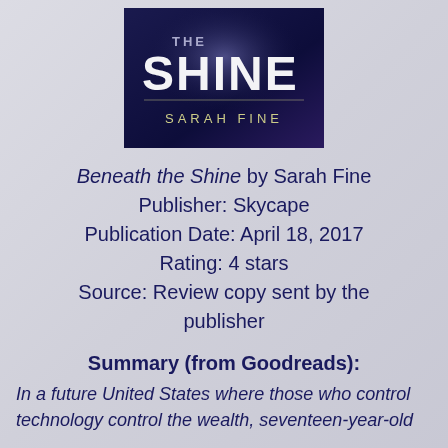[Figure (illustration): Book cover of 'Beneath the Shine' by Sarah Fine — dark navy background with large stylized text 'THE SHINE' and author name 'SARAH FINE' in gold/cream letters below]
Beneath the Shine by Sarah Fine
Publisher: Skycape
Publication Date: April 18, 2017
Rating: 4 stars
Source: Review copy sent by the publisher
Summary (from Goodreads):
In a future United States where those who control technology control the wealth, seventeen-year-old